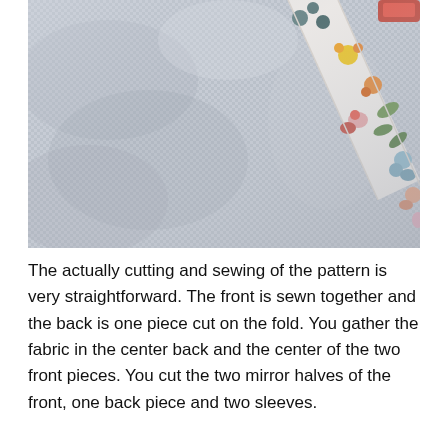[Figure (photo): Close-up photo of gray houndstooth/checkered fabric with a diagonal floral patterned strap (featuring colorful flowers in blue, orange, pink, yellow, green on white background) and a red clip visible at the top right corner.]
The actually cutting and sewing of the pattern is very straightforward. The front is sewn together and the back is one piece cut on the fold. You gather the fabric in the center back and the center of the two front pieces. You cut the two mirror halves of the front, one back piece and two sleeves.